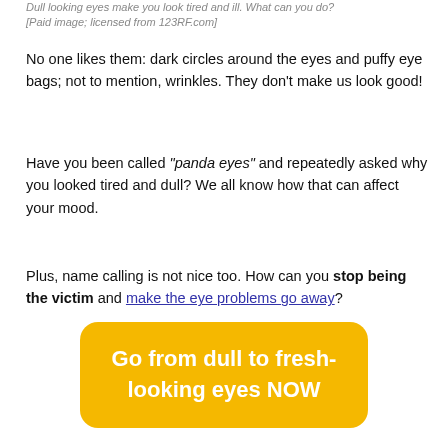Dull looking eyes make you look tired and ill. What can you do? [Paid image; licensed from 123RF.com]
No one likes them: dark circles around the eyes and puffy eye bags; not to mention, wrinkles. They don't make us look good!
Have you been called “panda eyes” and repeatedly asked why you looked tired and dull? We all know how that can affect your mood.
Plus, name calling is not nice too. How can you stop being the victim and make the eye problems go away?
[Figure (other): Yellow call-to-action button with rounded corners reading 'Go from dull to fresh-looking eyes NOW' in white bold text]